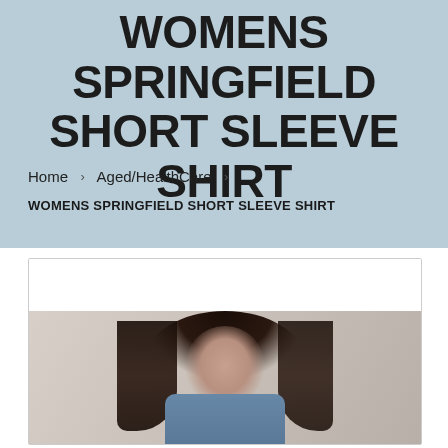WOMENS SPRINGFIELD SHORT SLEEVE SHIRT
Home › Aged/HealthCare ›
WOMENS SPRINGFIELD SHORT SLEEVE SHIRT
[Figure (photo): Fashion photo of a woman with long dark hair wearing a blue short sleeve shirt, posed against a light background.]